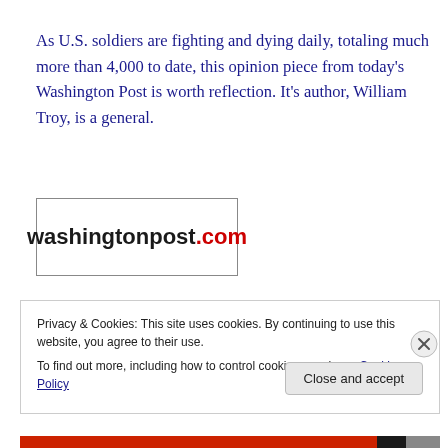As U.S. soldiers are fighting and dying daily, totaling much more than 4,000 to date, this opinion piece from today’s Washington Post is worth reflection. It’s author, William Troy, is a general.
[Figure (logo): washingtonpost.com logo — black text 'washingtonpost' followed by red text '.com', inside a bordered rectangle]
Privacy & Cookies: This site uses cookies. By continuing to use this website, you agree to their use.
To find out more, including how to control cookies, see here: Cookie Policy
Close and accept